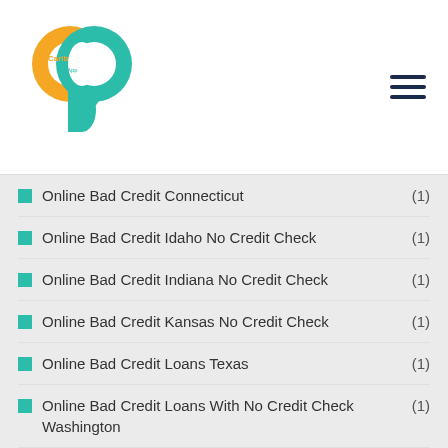Carib Pay App (logo and navigation)
Online Bad Credit Connecticut (1)
Online Bad Credit Idaho No Credit Check (1)
Online Bad Credit Indiana No Credit Check (1)
Online Bad Credit Kansas No Credit Check (1)
Online Bad Credit Loans Texas (1)
Online Bad Credit Loans With No Credit Check Washington (1)
Online Bad Credit Mt (1)
Online Bad Credit Ut (1)
Online Bad Credit With No Credit Check Maryland (1)